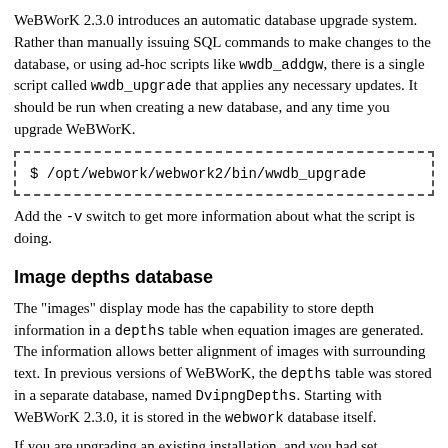WeBWorK 2.3.0 introduces an automatic database upgrade system. Rather than manually issuing SQL commands to make changes to the database, or using ad-hoc scripts like wwdb_addgw, there is a single script called wwdb_upgrade that applies any necessary updates. It should be run when creating a new database, and any time you upgrade WeBWorK.
$ /opt/webwork/webwork2/bin/wwdb_upgrade
Add the -v switch to get more information about what the script is doing.
Image depths database
The "images" display mode has the capability to store depth information in a depths table when equation images are generated. The information allows better alignment of images with surrounding text. In previous versions of WeBWorK, the depths table was stored in a separate database, named DvipngDepths. Starting with WeBWorK 2.3.0, it is stored in the webwork database itself.
If you are upgrading an existing installation, and you had set